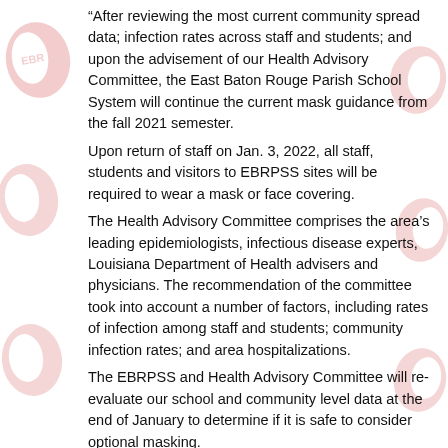“After reviewing the most current community spread data; infection rates across staff and students; and upon the advisement of our Health Advisory Committee, the East Baton Rouge Parish School System will continue the current mask guidance from the fall 2021 semester. Upon return of staff on Jan. 3, 2022, all staff, students and visitors to EBRPSS sites will be required to wear a mask or face covering. The Health Advisory Committee comprises the area’s leading epidemiologists, infectious disease experts, Louisiana Department of Health advisers and physicians. The recommendation of the committee took into account a number of factors, including rates of infection among staff and students; community infection rates; and area hospitalizations. The EBRPSS and Health Advisory Committee will re-evaluate our school and community level data at the end of January to determine if it is safe to consider optional masking. “We have continued to make all public health decisions based upon the most recently available data and based upon the advice of our health care professionals. The health and safety of our staff and students always come first. We will continue to evaluate the data and will consider optional masking at such a